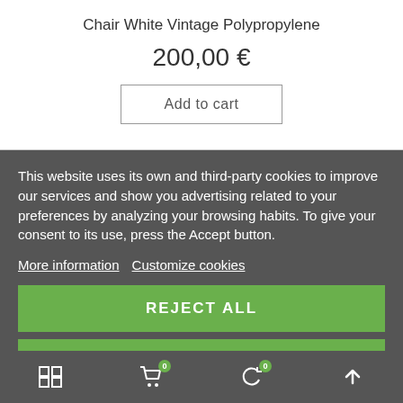Chair White Vintage Polypropylene
200,00 €
Add to cart
This website uses its own and third-party cookies to improve our services and show you advertising related to your preferences by analyzing your browsing habits. To give your consent to its use, press the Accept button.
More information   Customize cookies
REJECT ALL
I ACCEPT